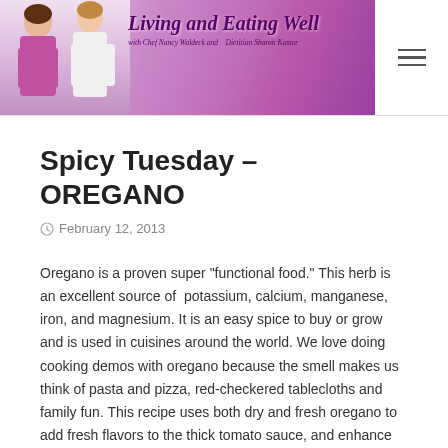[Figure (illustration): Website header banner for 'Living and Eating Well' with two women (chef and dietitian), decorative pink/purple gradient background, script logo text, and hamburger menu icon]
Spicy Tuesday – OREGANO
February 12, 2013
Oregano is a proven super "functional food." This herb is an excellent source of  potassium, calcium, manganese, iron, and magnesium. It is an easy spice to buy or grow and is used in cuisines around the world. We love doing cooking demos with oregano because the smell makes us think of pasta and pizza, red-checkered tablecloths and family fun. This recipe uses both dry and fresh oregano to add fresh flavors to the thick tomato sauce, and enhance the briny taste of the shrimp.
When we think of Mediterranean food our minds typically jump to France, Italy, Spain and Greece – but did you know the food of the Mediterranean is from more than a dozen countries? The